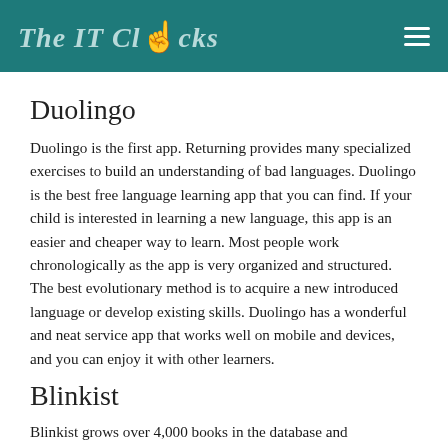The IT Clicks
Duolingo
Duolingo is the first app. Returning provides many specialized exercises to build an understanding of bad languages. Duolingo is the best free language learning app that you can find. If your child is interested in learning a new language, this app is an easier and cheaper way to learn. Most people work chronologically as the app is very organized and structured. The best evolutionary method is to acquire a new introduced language or develop existing skills. Duolingo has a wonderful and neat service app that works well on mobile and devices, and you can enjoy it with other learners.
Blinkist
Blinkist grows over 4,000 books in the database and is more ...